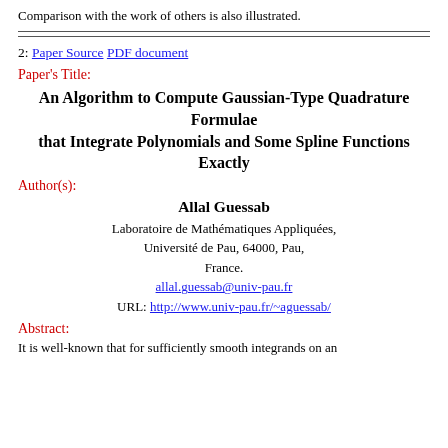Comparison with the work of others is also illustrated.
2: Paper Source PDF document
Paper's Title:
An Algorithm to Compute Gaussian-Type Quadrature Formulae that Integrate Polynomials and Some Spline Functions Exactly
Author(s):
Allal Guessab
Laboratoire de Mathématiques Appliquées, Université de Pau, 64000, Pau, France. allal.guessab@univ-pau.fr URL: http://www.univ-pau.fr/~aguessab/
Abstract:
It is well-known that for sufficiently smooth integrands on an